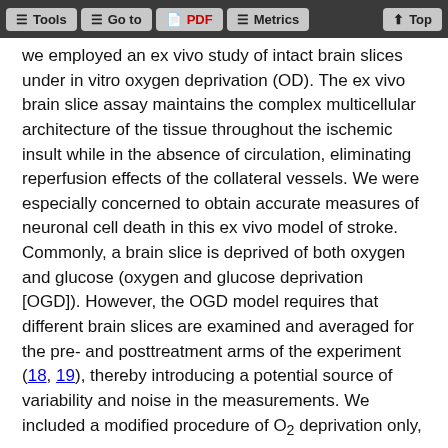Tools | Go to | PDF | Metrics | Top
we employed an ex vivo study of intact brain slices under in vitro oxygen deprivation (OD). The ex vivo brain slice assay maintains the complex multicellular architecture of the tissue throughout the ischemic insult while in the absence of circulation, eliminating reperfusion effects of the collateral vessels. We were especially concerned to obtain accurate measures of neuronal cell death in this ex vivo model of stroke. Commonly, a brain slice is deprived of both oxygen and glucose (oxygen and glucose deprivation [OGD]). However, the OGD model requires that different brain slices are examined and averaged for the pre- and posttreatment arms of the experiment (18, 19), thereby introducing a potential source of variability and noise in the measurements. We included a modified procedure of O₂ deprivation only,